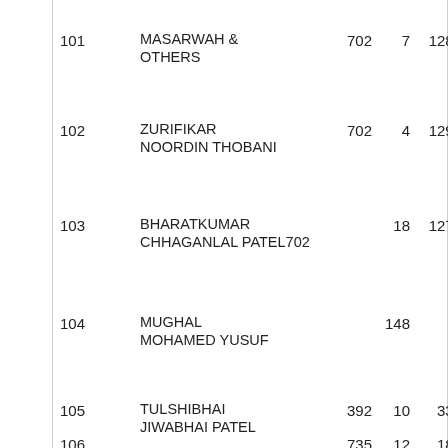| No. | Name | Col3 | Col4 | Col5 | Col6 | Location |
| --- | --- | --- | --- | --- | --- | --- |
| 101 | MASARWAH & OTHERS | 702 | 7 | 1286 | 244 | KYA AT K |
| 102 | ZURIFIKAR NOORDIN THOBANI | 702 | 4 | 1292 | 244 | KYA AT K |
| 103 | BHARATKUMAR CHHAGANLAL PATEL | 702 | 18 | 1277 | 244 | KYA AT K |
| 104 | MUGHAL MOHAMED YUSUF |  | 148 | 8 |  | KIBU |
| 105 | TULSHIBHAI JIWABHAI PATEL | 392 | 10 | 334 | 4 | KIBU |
| 106 |  | 735 | 12 | 187 | 2 | KIBU |